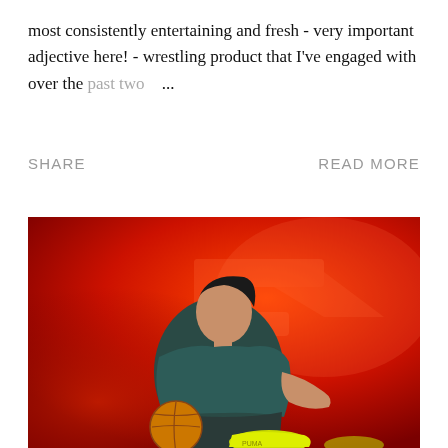most consistently entertaining and fresh - very important adjective here! - wrestling product that I've engaged with over the past two ...
SHARE    READ MORE
[Figure (photo): A woman in teal/dark athletic wear sits on a red gradient background next to a basketball, wearing yellow Puma sneakers. A large stylized 'F' logo appears in the background.]